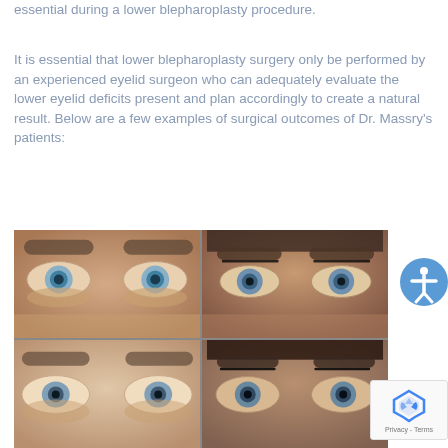essential during a lower blepharoplasty procedure.
It is essential that lower blepharoplasty surgery only be performed by an experienced eyelid surgeon who can adequately evaluate the lower eyelid deficits present and plan accordingly to create a natural result. Below are a few examples of surgical outcomes of Dr. Massry’s patients:
[Figure (photo): Four-panel before and after photo grid showing lower blepharoplasty surgical outcomes of Dr. Massry's patients. Top-left: before photo of a woman's eyes showing lower eyelid puffiness. Top-right: after photo showing improved lower eyelids. Bottom-left: close-up before photo of lower eyelid area. Bottom-right: close-up after photo showing surgical result.]